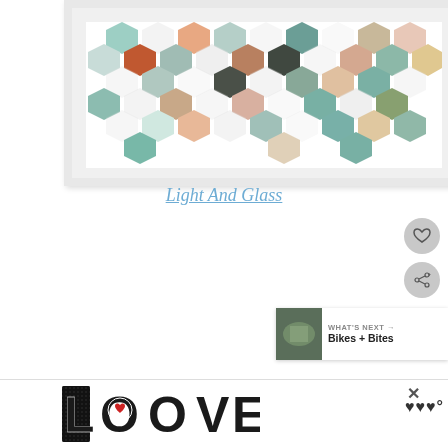[Figure (illustration): Framed artwork showing colorful hexagonal pattern spelling LOVE in muted tones of teal, orange, olive, salmon, and dark gray on white background]
Light And Glass
[Figure (photo): Framed artwork in white frame showing a sage/gray-green rectangular panel, partially visible with white matting]
[Figure (infographic): Bottom advertisement banner showing LOVE text in decorative black and white style with red accent, partial logo on right]